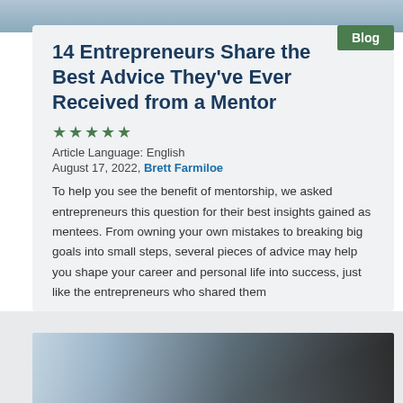[Figure (photo): Top banner photo of people, partially visible at the top of the page]
14 Entrepreneurs Share the Best Advice They've Ever Received from a Mentor
★★★★★
Article Language: English
August 17, 2022, Brett Farmiloe
To help you see the benefit of mentorship, we asked entrepreneurs this question for their best insights gained as mentees. From owning your own mistakes to breaking big goals into small steps, several pieces of advice may help you shape your career and personal life into success, just like the entrepreneurs who shared them
[Figure (photo): Photo of two people in a mentorship or meeting setting, partially visible at the bottom of the page]